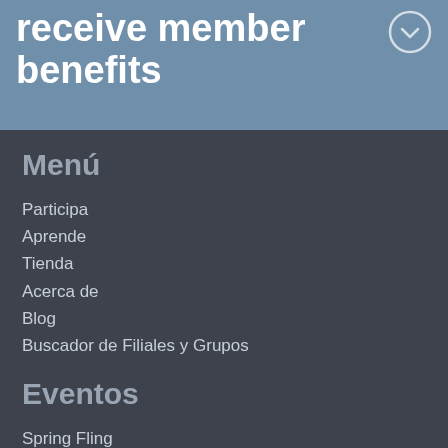receive member benefits
Menú
Participa
Aprende
Tienda
Acerca de
Blog
Buscador de Filiales y Grupos
Eventos
Spring Fling
Escuela de Verano
Escuela de Invierno
Fin de Semana de Conferencia General Anual